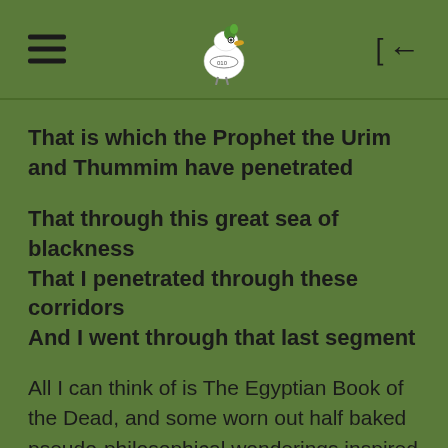[bird logo, hamburger menu, back button]
That is which the Prophet the Urim and Thummim have penetrated
That through this great sea of blackness
That I penetrated through these corridors
And I went through that last segment
All I can think of is The Egyptian Book of the Dead, and some worn out half baked pseudo-philosophical wonderings inspired this dullness. I don't know anyone else has ever read that book and produced anything quite so grey and